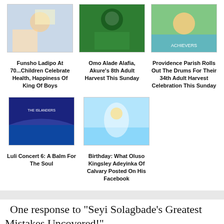[Figure (photo): Thumbnail image for Funsho Ladipo At 70 article]
[Figure (photo): Thumbnail image for Omo Alade Alafia Akure 8th Adult Harvest article]
[Figure (photo): Thumbnail image for Providence Parish Rolls Out The Drums article]
Funsho Ladipo At 70...Children Celebrate Health, Happiness Of King Of Boys
Omo Alade Alafia, Akure's 8th Adult Harvest This Sunday
Providence Parish Rolls Out The Drums For Their 34th Adult Harvest Celebration This Sunday
[Figure (photo): Thumbnail image for Luli Concert 6 article]
[Figure (photo): Thumbnail image for Birthday Oluso Kingsley Adeyinka article]
Luli Concert 6: A Balm For The Soul
Birthday: What Oluso Kingsley Adeyinka Of Calvary Posted On His Facebook
One response to “Seyi Solagbade’s Greatest Mistakes Uncovered!”